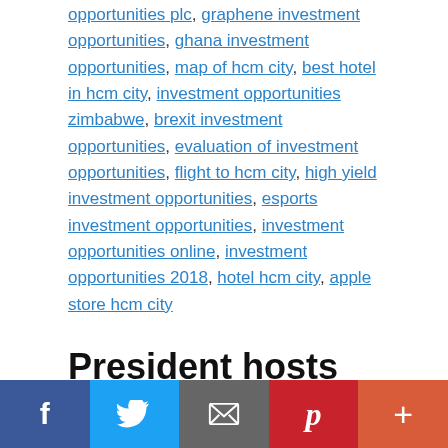opportunities plc, graphene investment opportunities, ghana investment opportunities, map of hcm city, best hotel in hcm city, investment opportunities zimbabwe, brexit investment opportunities, evaluation of investment opportunities, flight to hcm city, high yield investment opportunities, esports investment opportunities, investment opportunities online, investment opportunities 2018, hotel hcm city, apple store hcm city
President hosts young Japanese parliamentarians
August 24, 2022 by dtinews.vn